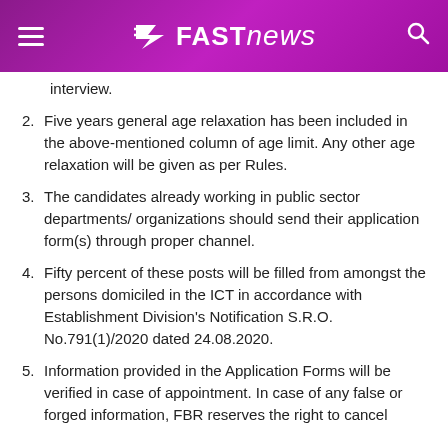FAST NEWS
interview.
2. Five years general age relaxation has been included in the above-mentioned column of age limit. Any other age relaxation will be given as per Rules.
3. The candidates already working in public sector departments/ organizations should send their application form(s) through proper channel.
4. Fifty percent of these posts will be filled from amongst the persons domiciled in the ICT in accordance with Establishment Division's Notification S.R.O. No.791(1)/2020 dated 24.08.2020.
5. Information provided in the Application Forms will be verified in case of appointment. In case of any false or forged information, FBR reserves the right to cancel